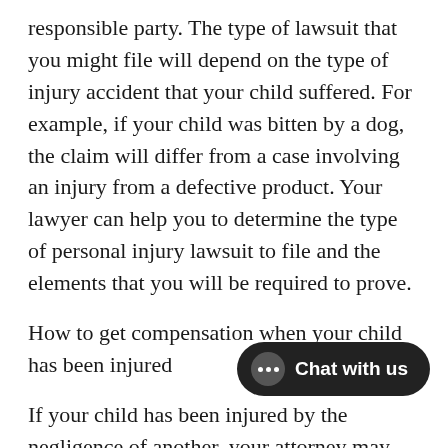responsible party. The type of lawsuit that you might file will depend on the type of injury accident that your child suffered. For example, if your child was bitten by a dog, the claim will differ from a case involving an injury from a defective product. Your lawyer can help you to determine the type of personal injury lawsuit to file and the elements that you will be required to prove.
How to get compensation when your child has been injured
If your child has been injured by the negligence of another, your attorney may file responsible party in the court t to bear the case. Your lawyer may send a demand